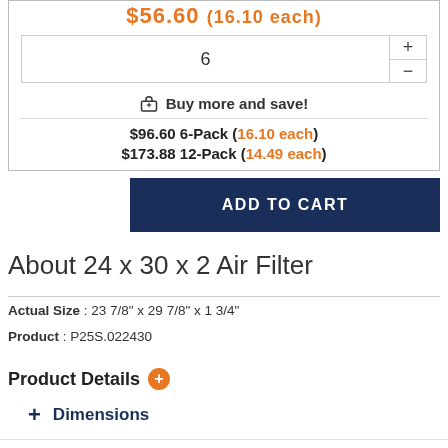$56.60 (16.10 each)
6
🛒 Buy more and save!
$96.60 6-Pack (16.10 each)
$173.88 12-Pack (14.49 each)
ADD TO CART
About 24 x 30 x 2 Air Filter
Actual Size : 23 7/8" x 29 7/8" x 1 3/4"
Product : P25S.022430
Product Details
+ Dimensions